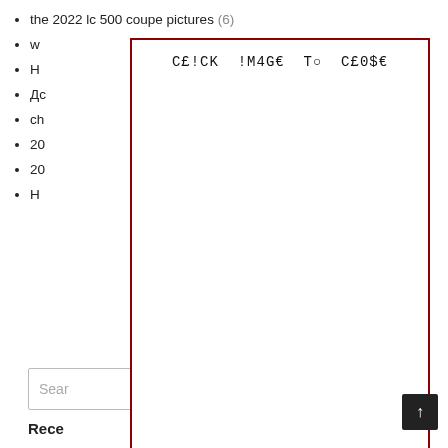the 2022 lc 500 coupe pictures (6)
w
H
Дс
ch
20
20
H
[Figure (other): Modal overlay with red border containing text: C£!CK !M4G€ T○ C£0$€]
Search
Rece